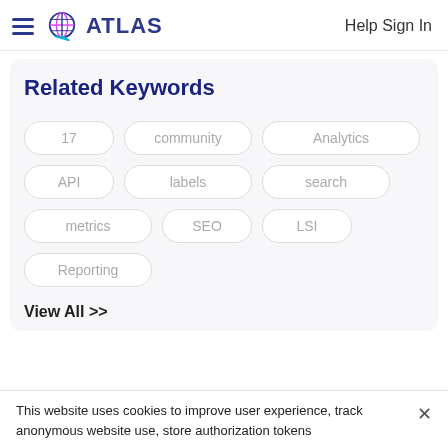ATLAS   Help Sign In
Related Keywords
17
community
Analytics
API
labels
search
metrics
SEO
LSI
Reporting
View All >>
This website uses cookies to improve user experience, track anonymous website use, store authorization tokens